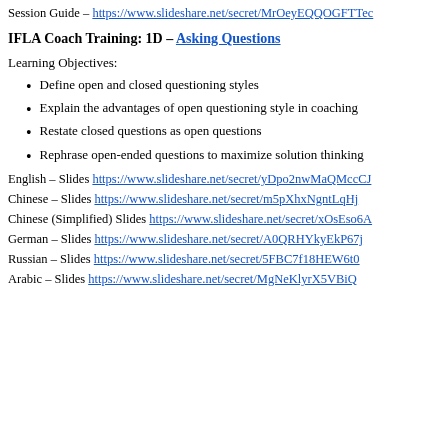Session Guide – https://www.slideshare.net/secret/MrOeyEQQOGFTTeC
IFLA Coach Training: 1D – Asking Questions
Learning Objectives:
Define open and closed questioning styles
Explain the advantages of open questioning style in coaching
Restate closed questions as open questions
Rephrase open-ended questions to maximize solution thinking
English – Slides https://www.slideshare.net/secret/yDpo2nwMaQMccCJ
Chinese – Slides https://www.slideshare.net/secret/m5pXhxNgntLqHj
Chinese (Simplified) Slides https://www.slideshare.net/secret/xOsEso6A
German – Slides https://www.slideshare.net/secret/A0QRHYkyEkP67j
Russian – Slides https://www.slideshare.net/secret/5FBC7f18HEW6t0
Arabic – Slides https://www.slideshare.net/secret/MgNeKlyrX5VBiQ